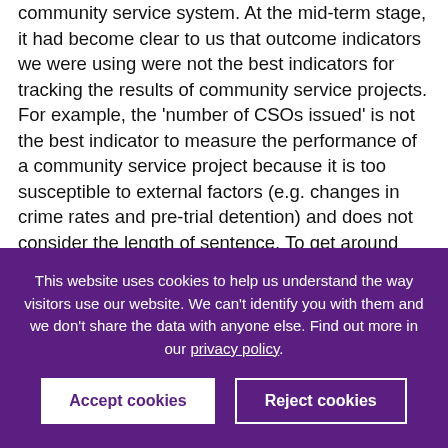community service system. At the mid-term stage, it had become clear to us that outcome indicators we were using were not the best indicators for tracking the results of community service projects. For example, the 'number of CSOs issued' is not the best indicator to measure the performance of a community service project because it is too susceptible to external factors (e.g. changes in crime rates and pre-trial detention) and does not consider the length of sentence. To get around this, PRI developed two new indicators which provide better
This website uses cookies to help us understand the way visitors use our website. We can't identify you with them and we don't share the data with anyone else. Find out more in our privacy policy.